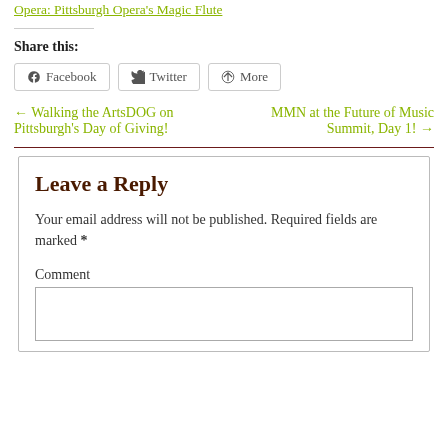Opera: Pittsburgh Opera's Magic Flute
Share this:
Facebook  Twitter  More
← Walking the ArtsDOG on Pittsburgh's Day of Giving!
MMN at the Future of Music Summit, Day 1! →
Leave a Reply
Your email address will not be published. Required fields are marked *
Comment